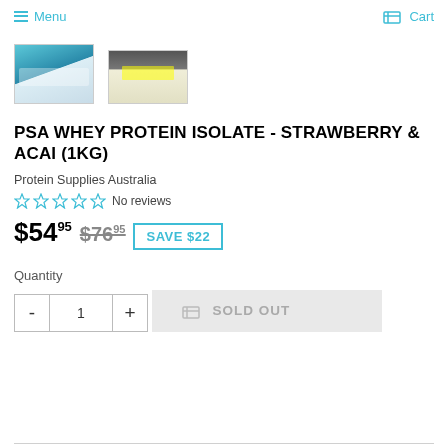Menu  Cart
[Figure (photo): Two product thumbnail images: left shows a blue protein powder box, right shows the back/barcode of the product packaging]
PSA WHEY PROTEIN ISOLATE - STRAWBERRY & ACAI (1KG)
Protein Supplies Australia
☆☆☆☆☆ No reviews
$54.95  $76.95  SAVE $22
Quantity
- 1 +
🛒 SOLD OUT